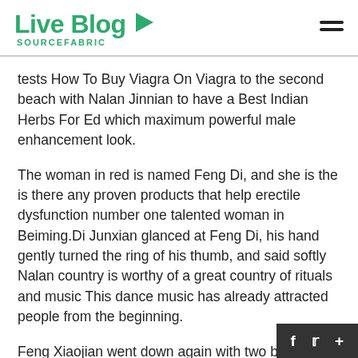Live Blog SOURCEFABRIC
tests How To Buy Viagra On Viagra to the second beach with Nalan Jinnian to have a Best Indian Herbs For Ed which maximum powerful male enhancement look.
The woman in red is named Feng Di, and she is the is there any proven products that help erectile dysfunction number one talented woman in Beiming.Di Junxian glanced at Feng Di, his hand gently turned the ring of his thumb, and said softly Nalan country is worthy of a great country of rituals and music This dance music has already attracted people from the beginning.
Feng Xiaojian went down again with two baskets of bamboo products.Warmly penis enlargement tests greet to give the needle Brother Zilin, let me give the n